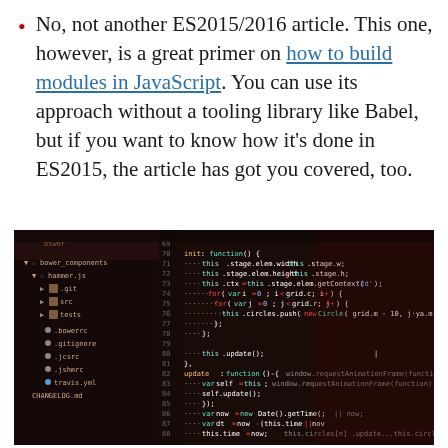No, not another ES2015/2016 article. This one, however, is a great primer on how to build modules in JavaScript. You can use its approach without a tooling library like Babel, but if you want to know how it's done in ES2015, the article has got you covered, too.
[Figure (screenshot): A dark-themed code editor screenshot showing JavaScript code with line numbers 69-88, including init and update functions with canvas animation code. On the left side is a file tree panel showing bower_components, hammer.js, .git, src, tests folders and files like .bowerrc, .gitignore, .jcsrc, .jshmrc, travis.yml, CHANGELOG.md.]